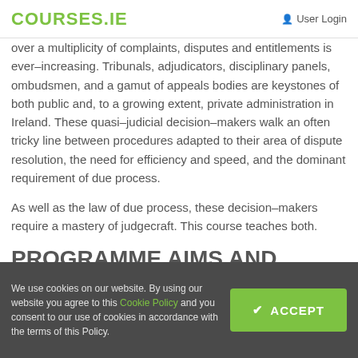COURSES.IE  User Login
over a multiplicity of complaints, disputes and entitlements is ever–increasing. Tribunals, adjudicators, disciplinary panels, ombudsmen, and a gamut of appeals bodies are keystones of both public and, to a growing extent, private administration in Ireland. These quasi–judicial decision–makers walk an often tricky line between procedures adapted to their area of dispute resolution, the need for efficiency and speed, and the dominant requirement of due process.
As well as the law of due process, these decision–makers require a mastery of judgecraft. This course teaches both.
PROGRAMME AIMS AND
We use cookies on our website. By using our website you agree to this Cookie Policy and you consent to our use of cookies in accordance with the terms of this Policy.